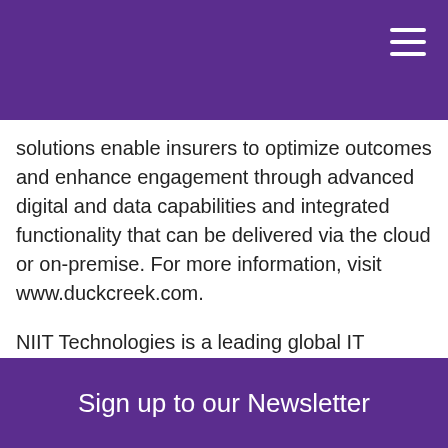solutions enable insurers to optimize outcomes and enhance engagement through advanced digital and data capabilities and integrated functionality that can be delivered via the cloud or on-premise. For more information, visit www.duckcreek.com.
NIIT Technologies is a leading global IT solutions organization servicing customers across the Americas, Europe, Asia and Australia. Differentiated on the strength of its industry expertise, NIIT Technologies services clients in travel and transportation, banking and financial services, insurance, manufacturing and media verticals, offering a range of services including Application
Sign up to our Newsletter